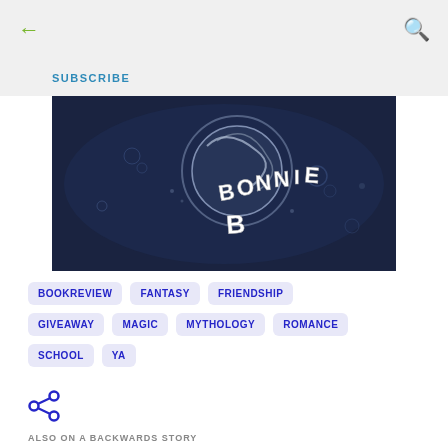← SUBSCRIBE 🔍
[Figure (photo): Dark blue underwater scene with the word BONNIE spelled out in white 3D letters floating in water with bubbles and swirling lines]
BOOKREVIEW
FANTASY
FRIENDSHIP
GIVEAWAY
MAGIC
MYTHOLOGY
ROMANCE
SCHOOL
YA
[Figure (illustration): Share icon (blue network/share symbol)]
ALSO ON A BACKWARDS STORY